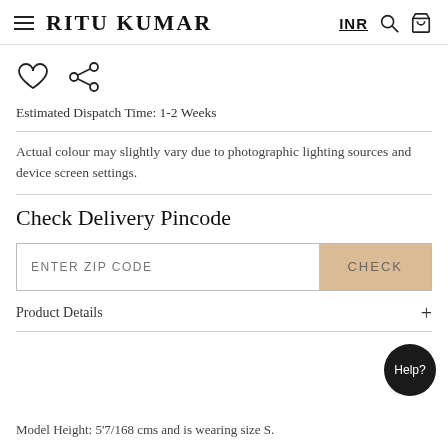RITU KUMAR — INR
Estimated Dispatch Time: 1-2 Weeks
Actual colour may slightly vary due to photographic lighting sources and device screen settings.
Check Delivery Pincode
ENTER ZIP CODE  CHECK
Product Details
Model Height: 5'7/168 cms and is wearing size S.